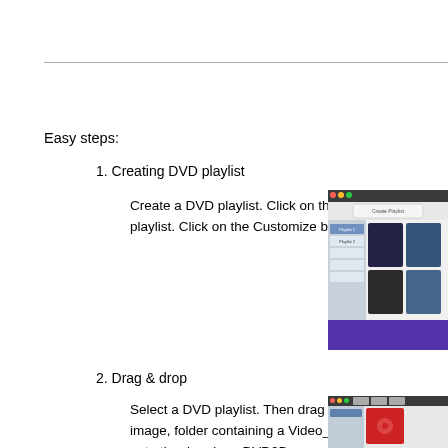Easy steps:
1. Creating DVD playlist
Create a DVD playlist.  Click on the Add button to create a playlist.  Click on the Customize button to rename it.
[Figure (screenshot): Screenshot of DVD2Browse application showing playlist creation interface with sidebar and media thumbnails]
2. Drag & drop
Select a DVD playlist.  Then drag and drop a DVD (disc, disc image, folder containing a Video_TS folder, Video_TS folder) onto the drop box.  DVD2Browse will automatically take a DVD snapshot with Auto shot on if the DVD is not encrypted.  If encrypted, turn off...
[Figure (screenshot): Screenshot of DVD2Browse application showing drag and drop interface with red thumbnail]